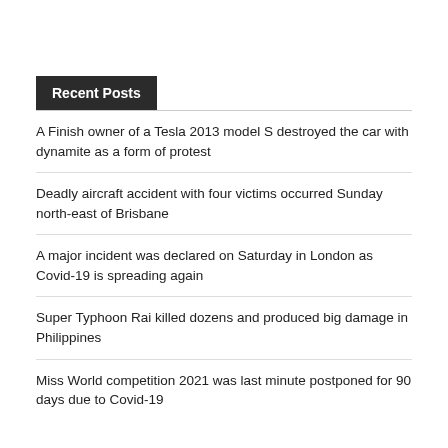Recent Posts
A Finish owner of a Tesla 2013 model S destroyed the car with dynamite as a form of protest
Deadly aircraft accident with four victims occurred Sunday north-east of Brisbane
A major incident was declared on Saturday in London as Covid-19 is spreading again
Super Typhoon Rai killed dozens and produced big damage in Philippines
Miss World competition 2021 was last minute postponed for 90 days due to Covid-19
Categories